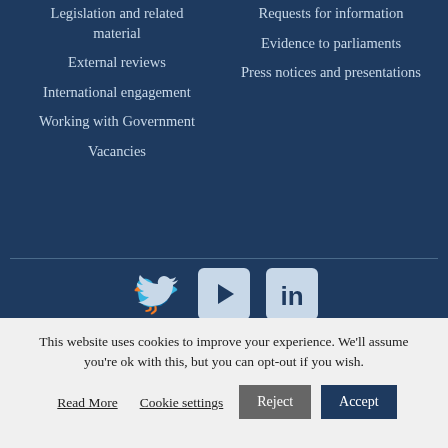Legislation and related material
External reviews
International engagement
Working with Government
Vacancies
Requests for information
Evidence to parliaments
Press notices and presentations
[Figure (illustration): Social media icons: Twitter bird, YouTube play button, LinkedIn logo]
This website uses cookies to improve your experience. We'll assume you're ok with this, but you can opt-out if you wish.
Read More   Cookie settings   Reject   Accept